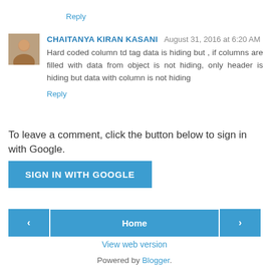Reply
CHAITANYA KIRAN KASANI August 31, 2016 at 6:20 AM
Hard coded column td tag data is hiding but , if columns are filled with data from object is not hiding, only header is hiding but data with column is not hiding
Reply
To leave a comment, click the button below to sign in with Google.
[Figure (screenshot): SIGN IN WITH GOOGLE button - a blue rectangular button with white uppercase text]
[Figure (screenshot): Navigation bar with left arrow button, Home button, and right arrow button]
View web version
Powered by Blogger.